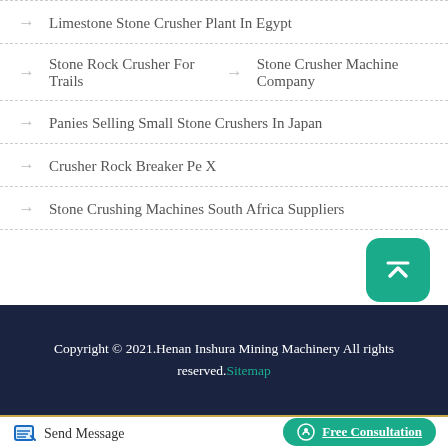Limestone Stone Crusher Plant In Egypt
Stone Rock Crusher For Trails | Stone Crusher Machine Company
Panies Selling Small Stone Crushers In Japan
Crusher Rock Breaker Pe X
Stone Crushing Machines South Africa Suppliers
Copyright © 2021.Henan Inshura Mining Machinery All rights reserved.Sitemap
Send Message
Free Consultation